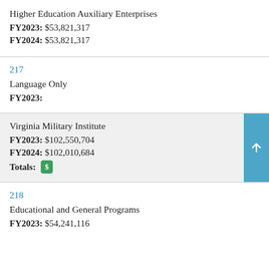Higher Education Auxiliary Enterprises
FY2023: $53,821,317
FY2024: $53,821,317
217
Language Only
FY2023:
Virginia Military Institute
FY2023: $102,550,704
FY2024: $102,010,684
Totals: $
218
Educational and General Programs
FY2023: $54,241,116